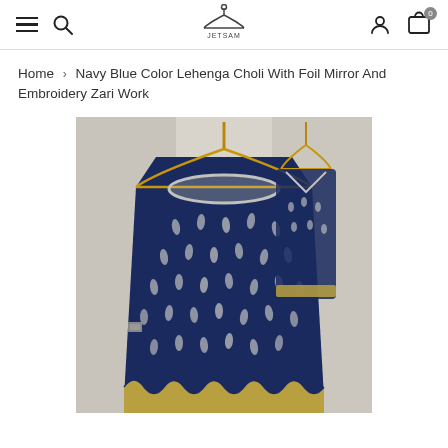Navigation bar with hamburger menu, search icon, store logo, account icon, and cart (0)
Home › Navy Blue Color Lehenga Choli With Foil Mirror And Embroidery Zari Work
[Figure (photo): Navy blue lehenga choli with foil mirror and embroidery zari work, hanging on wooden hangers against a textured white wall. The outfit features silver embroidered neckline, scattered silver foil motifs on the skirt, and a scalloped embroidered hem. A matching blouse/dupatta is also visible on the right.]